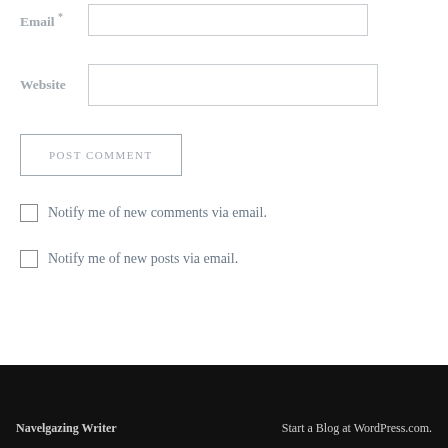Email *
Website
POST COMMENT
Notify me of new comments via email.
Notify me of new posts via email.
Navelgazing Writer   Start a Blog at WordPress.com.